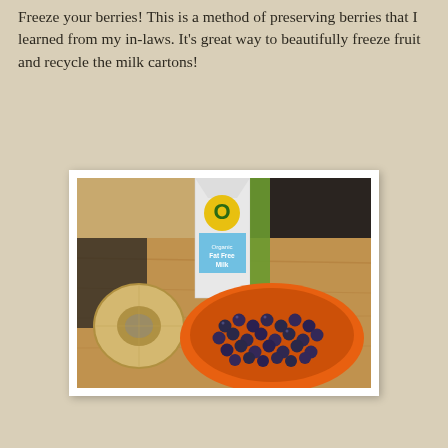Freeze your berries! This is a method of preserving berries that I learned from my in-laws. It's great way to beautifully freeze fruit and recycle the milk cartons!
[Figure (photo): A photo showing an orange oval dish filled with blueberries on a wooden surface, alongside a roll of masking tape and a carton of Organic Fat Free Milk.]